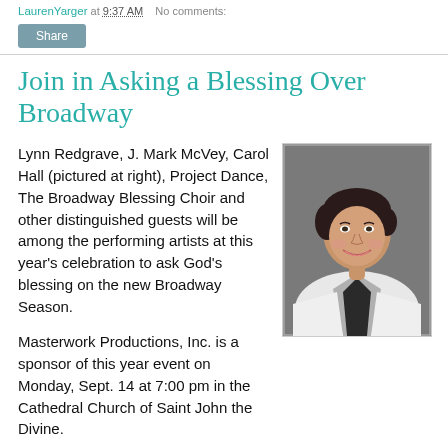LaurenYarger at 9:37 AM   No comments:
Share
Join in Asking a Blessing Over Broadway
Lynn Redgrave, J. Mark McVey, Carol Hall (pictured at right), Project Dance, The Broadway Blessing Choir and other distinguished guests will be among the performing artists at this year's celebration to ask God's blessing on the new Broadway Season.

Masterwork Productions, Inc. is a sponsor of this year event on Monday, Sept. 14 at 7:00 pm in the Cathedral Church of Saint John the Divine.
[Figure (photo): Portrait photo of Carol Hall, a woman with short dark hair wearing a white blazer with black trim, smiling at the camera against a grey background.]